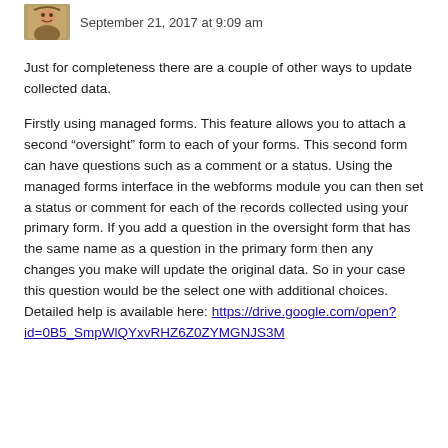September 21, 2017 at 9:09 am
Just for completeness there are a couple of other ways to update collected data.
Firstly using managed forms. This feature allows you to attach a second “oversight” form to each of your forms. This second form can have questions such as a comment or a status. Using the managed forms interface in the webforms module you can then set a status or comment for each of the records collected using your primary form. If you add a question in the oversight form that has the same name as a question in the primary form then any changes you make will update the original data. So in your case this question would be the select one with additional choices. Detailed help is available here: https://drive.google.com/open?id=0B5_SmpWlQYxvRHZ6Z0ZYMGNJS3M